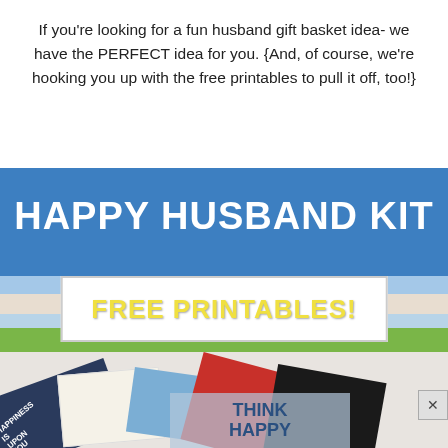If you're looking for a fun husband gift basket idea- we have the PERFECT idea for you. {And, of course, we're hooking you up with the free printables to pull it off, too!}
[Figure (photo): Happy Husband Kit promotional image with blue header text 'HAPPY HUSBAND KIT', striped section with 'FREE PRINTABLES!' in yellow text, and photo of scattered gift cards/printables below including text 'HAPPINESS' and 'THINK HAPPY']